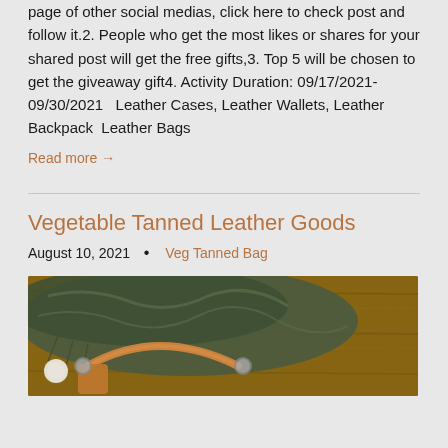page of other social medias, click here to check post and follow it.2. People who get the most likes or shares for your shared post will get the free gifts,3. Top 5 will be chosen to get the giveaway gift4. Activity Duration: 09/17/2021-09/30/2021   Leather Cases, Leather Wallets, Leather Backpack  Leather Bags
Read more →
Vegetable Tanned Leather Goods
August 10, 2021  •  Veg Tanned Bag
[Figure (photo): Photo of a vegetable tanned leather bag with dark green scarf/shawl draped over it on a wooden surface]